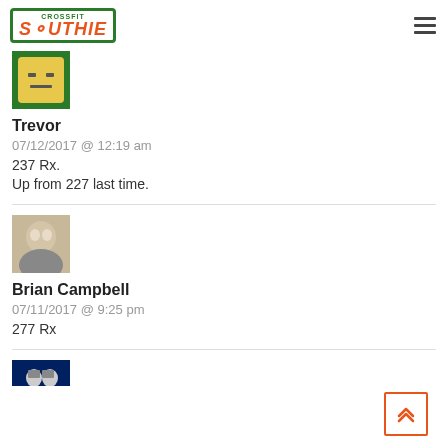CrossFit Southie
[Figure (photo): Cartoon emoji face avatar with green border, yellow background, neutral expression]
Trevor
07/12/2017 @ 12:19 am
237 Rx.
Up from 227 last time.
[Figure (photo): Photo of a person with light hair, slightly blurred, worn as avatar]
Brian Campbell
07/11/2017 @ 9:25 pm
277 Rx
[Figure (photo): Dark blue background avatar with cartoon face, partially visible at bottom]